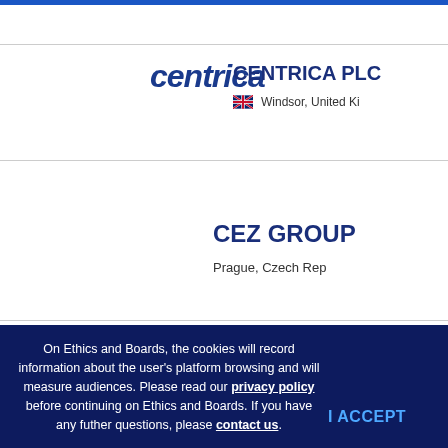[Figure (logo): Centrica logo in dark blue italic bold text]
CENTRICA PLC
Windsor, United Ki...
CEZ GROUP
Prague, Czech Rep...
On Ethics and Boards, the cookies will record information about the user's platform browsing and will measure audiences. Please read our privacy policy before continuing on Ethics and Boards. If you have any futher questions, please contact us.
I ACCEPT